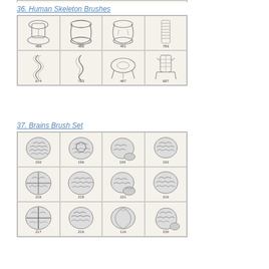36. Human Skeleton Brushes
[Figure (illustration): Grid of 8 human skeleton brush illustrations with numbers: 488, 488, 491, 783, 674, 783, 487, 687]
37. Brains Brush Set
[Figure (illustration): Grid of 12 brain brush illustrations with numbers: 192, 196, 190, 192, 216, 218, 221, 216, 217, 216, 116, 150]